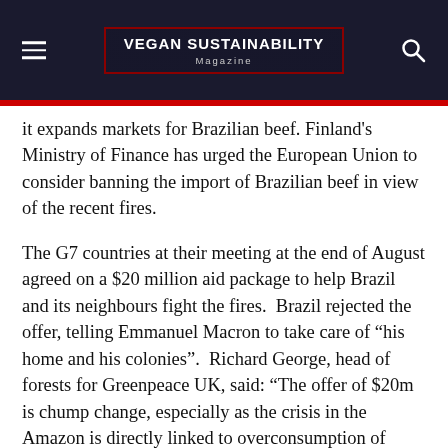VEGAN SUSTAINABILITY Magazine
it expands markets for Brazilian beef. Finland's Ministry of Finance has urged the European Union to consider banning the import of Brazilian beef in view of the recent fires.
The G7 countries at their meeting at the end of August agreed on a $20 million aid package to help Brazil and its neighbours fight the fires. Brazil rejected the offer, telling Emmanuel Macron to take care of “his home and his colonies”. Richard George, head of forests for Greenpeace UK, said: “The offer of $20m is chump change, especially as the crisis in the Amazon is directly linked to overconsumption of meat and dairy in the UK and other G7 countries”.